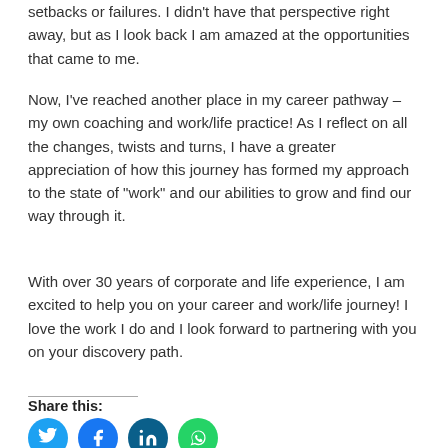setbacks or failures. I didn't have that perspective right away, but as I look back I am amazed at the opportunities that came to me.
Now, I've reached another place in my career pathway – my own coaching and work/life practice! As I reflect on all the changes, twists and turns, I have a greater appreciation of how this journey has formed my approach to the state of "work" and our abilities to grow and find our way through it.
With over 30 years of corporate and life experience, I am excited to help you on your career and work/life journey! I love the work I do and I look forward to partnering with you on your discovery path.
Share this: